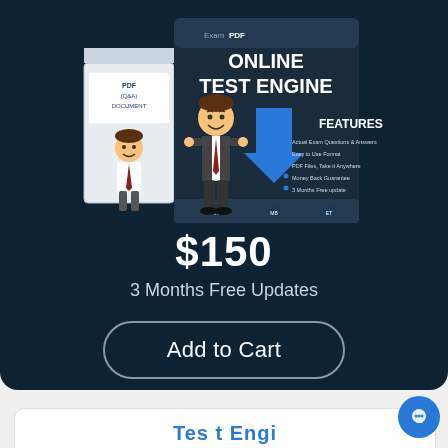[Figure (illustration): Product box set showing 'Online Test Engine' software package with a cartoon businessman character, blue upward arrow, and 'FEATURES' list on a dark background. Also shows a smaller PDF Q&A document box.]
$150
3 Months Free Updates
Add to Cart